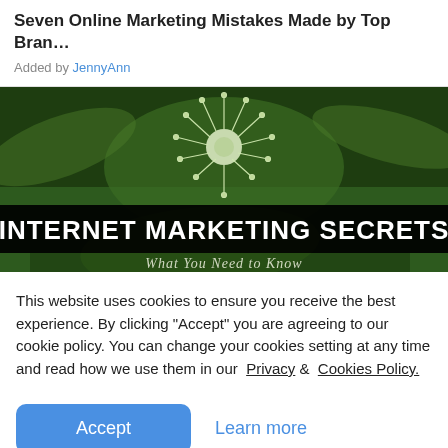Seven Online Marketing Mistakes Made by Top Bran…
Added by JennyAnn
[Figure (photo): Promotional image for 'Internet Marketing Secrets - What You Need to Know' with a white spiky flower against a dark green background. Bold white text on black banner reads: INTERNET MARKETING SECRETS. Italic text below: What You Need to Know]
This website uses cookies to ensure you receive the best experience. By clicking "Accept" you are agreeing to our cookie policy. You can change your cookies setting at any time and read how we use them in our Privacy & Cookies Policy.
Accept  Learn more